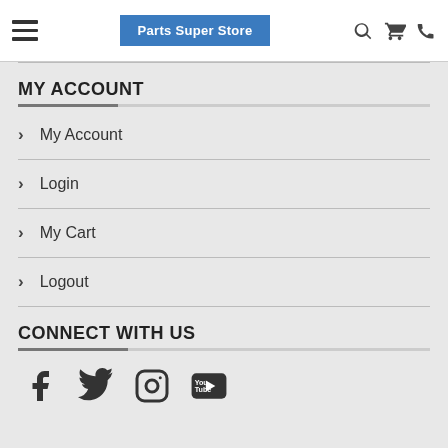Parts Super Store
MY ACCOUNT
My Account
Login
My Cart
Logout
CONNECT WITH US
[Figure (infographic): Social media icons: Facebook, Twitter, Instagram, YouTube]